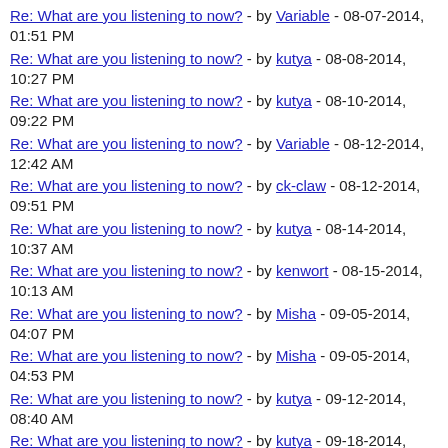Re: What are you listening to now? - by Variable - 08-07-2014, 01:51 PM
Re: What are you listening to now? - by kutya - 08-08-2014, 10:27 PM
Re: What are you listening to now? - by kutya - 08-10-2014, 09:22 PM
Re: What are you listening to now? - by Variable - 08-12-2014, 12:42 AM
Re: What are you listening to now? - by ck-claw - 08-12-2014, 09:51 PM
Re: What are you listening to now? - by kutya - 08-14-2014, 10:37 AM
Re: What are you listening to now? - by kenwort - 08-15-2014, 10:13 AM
Re: What are you listening to now? - by Misha - 09-05-2014, 04:07 PM
Re: What are you listening to now? - by Misha - 09-05-2014, 04:53 PM
Re: What are you listening to now? - by kutya - 09-12-2014, 08:40 AM
Re: What are you listening to now? - by kutya - 09-18-2014, 08:30 AM
Re: What are you listening to now? - by Variable - 09-18-2014, 08:55 AM
Re: What are you listening to now? - by Legolasse - 09-18-